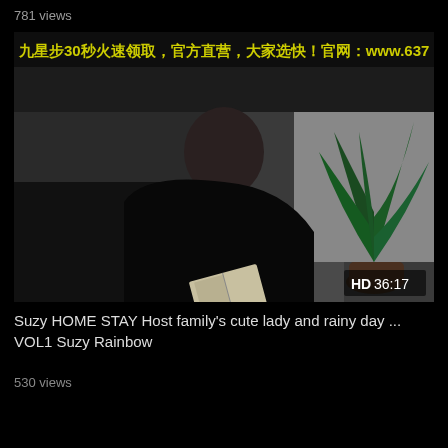781 views
[Figure (screenshot): Video thumbnail showing a person in dark clothing sitting on a sofa reading a book/magazine in a dimly lit room with a potted plant in the background. Watermark text in Chinese characters overlaid at top. HD badge and duration '36:17' shown in bottom right corner.]
Suzy HOME STAY Host family's cute lady and rainy day ... VOL1 Suzy Rainbow
530 views